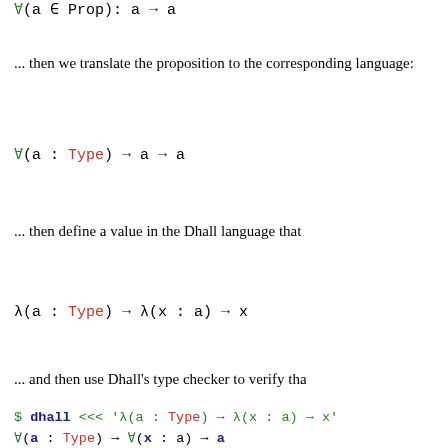... then we translate the proposition to the corresponding language:
... then define a value in the Dhall language that
... and then use Dhall's type checker to verify tha